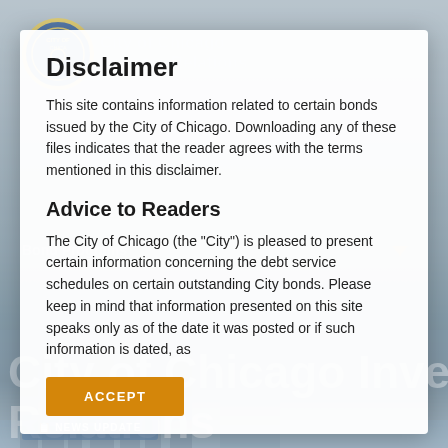[Figure (screenshot): City of Chicago Investor Relations website background with city skyline photo, logo, navigation, and watermark text]
Disclaimer
This site contains information related to certain bonds issued by the City of Chicago. Downloading any of these files indicates that the reader agrees with the terms mentioned in this disclaimer.
Advice to Readers
The City of Chicago (the "City") is pleased to present certain information concerning the debt service schedules on certain outstanding City bonds. Please keep in mind that information presented on this site speaks only as of the date it was posted or if such information is dated, as
ACCEPT